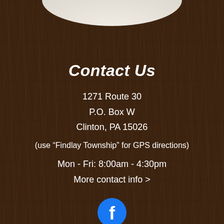[Figure (illustration): Partial arc/dome shape at top of page, light beige/white color against dark brown wood background]
Contact Us
1271 Route 30
P.O. Box W
Clinton, PA 15026
(use “Findlay Township” for GPS directions)
Mon - Fri: 8:00am - 4:30pm
More contact info >
[Figure (logo): Facebook logo icon — circular blue background with white 'f' letter]